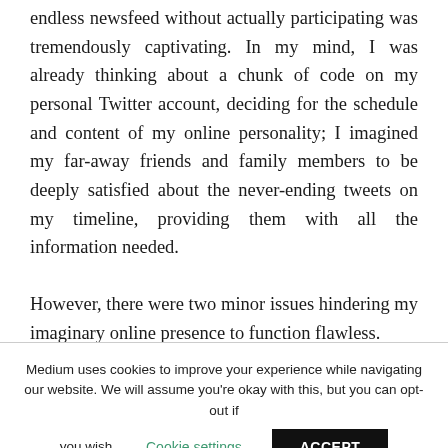endless newsfeed without actually participating was tremendously captivating. In my mind, I was already thinking about a chunk of code on my personal Twitter account, deciding for the schedule and content of my online personality; I imagined my far-away friends and family members to be deeply satisfied about the never-ending tweets on my timeline, providing them with all the information needed.
However, there were two minor issues hindering my imaginary online presence to function flawless.
Medium uses cookies to improve your experience while navigating our website. We will assume you're okay with this, but you can opt-out if you wish. Cookie settings ACCEPT